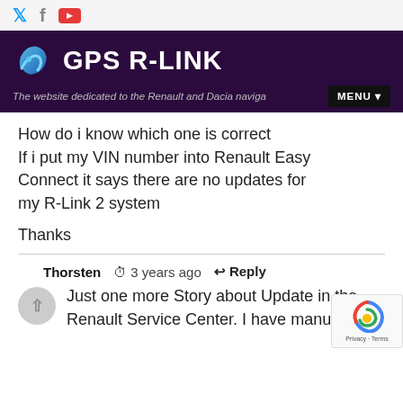GPS R-LINK — The website dedicated to the Renault and Dacia navigation s
How do i know which one is correct
If i put my VIN number into Renault Easy Connect it says there are no updates for my R-Link 2 system

Thanks
Thorsten  3 years ago  Reply
Just one more Story about Update in the Renault Service Center. I have manually